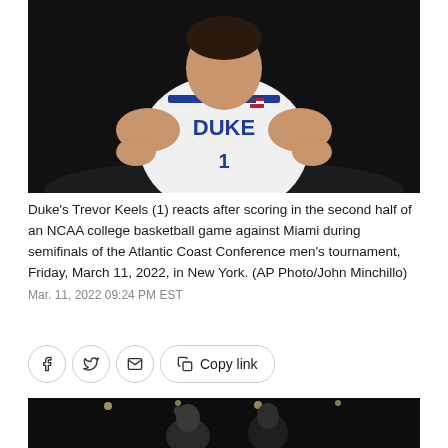[Figure (photo): Duke's Trevor Keels (#1) in white Duke basketball uniform reacting/gesturing on court against dark background]
Duke's Trevor Keels (1) reacts after scoring in the second half of an NCAA college basketball game against Miami during semifinals of the Atlantic Coast Conference men's tournament, Friday, March 11, 2022, in New York. (AP Photo/John Minchillo)
Mar. 11, 2022 09:24 PM EST
[Figure (photo): Basketball game action shot at night arena, partial view showing players]